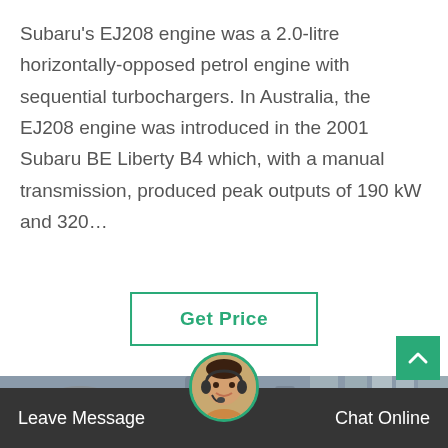Subaru's EJ208 engine was a 2.0-litre horizontally-opposed petrol engine with sequential turbochargers. In Australia, the EJ208 engine was introduced in the 2001 Subaru BE Liberty B4 which, with a manual transmission, produced peak outputs of 190 kW and 320…
Get Price
[Figure (photo): Industrial machinery scene with a worker in blue uniform and hard hat working on large industrial equipment/turbines with pipes and cylinders]
Leave Message
Chat Online